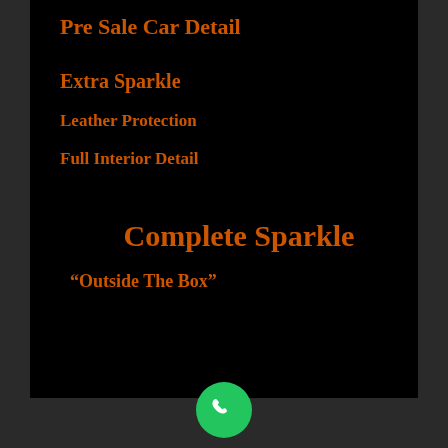Pre Sale Car Detail
Extra Sparkle
Leather Protection
Full Interior Detail
Complete Sparkle
“Outside The Box”
[Figure (other): Green phone/call button icon at bottom center]